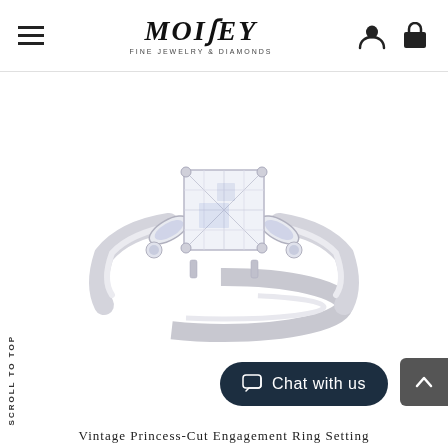MONEY Fine Jewelry & Diamonds – navigation header with hamburger menu, logo, account icon, cart icon
[Figure (photo): A white-gold vintage princess-cut engagement ring setting with a large square princess-cut center diamond flanked by marquise-cut and small round accent diamonds on each side, on a white background.]
SCROLL TO TOP
Chat with us
Vintage Princess-Cut Engagement Ring Setting